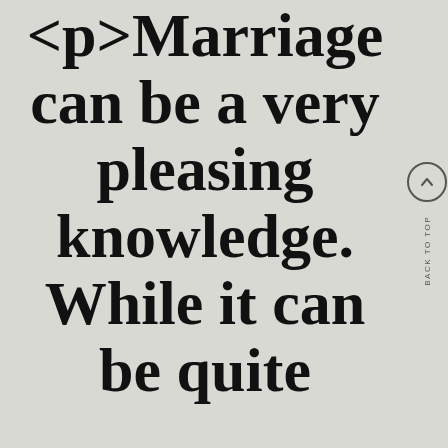<p>Marriage can be a very pleasing knowledge. While it can be quite
[Figure (other): Back to top navigation button with upward chevron arrow in circle and vertical BACK TO TOP label]